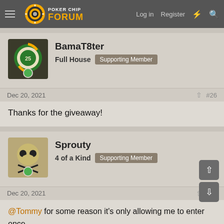Poker Chip Forum — Log in  Register
BamaT8ter
Full House  Supporting Member
Dec 20, 2021  #26
Thanks for the giveaway!
Sprouty
4 of a Kind  Supporting Member
Dec 20, 2021  #27
@Tommy for some reason it's only allowing me to enter once.

Can you PM me the work around so I can get additional entries?

Thanks again!